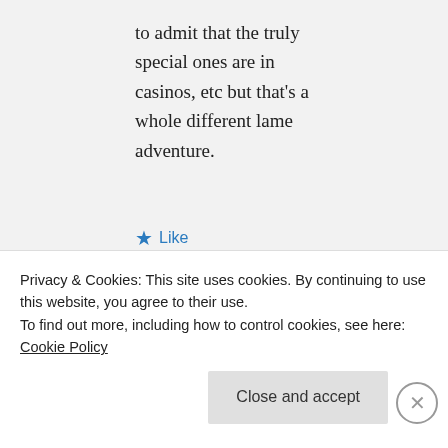to admit that the truly special ones are in casinos, etc but that's a whole different lame adventure.
★ Like
↪ Reply
lameadventures on January 6, 2015 at 1:40 pm
I am sure it is! Back to
Privacy & Cookies: This site uses cookies. By continuing to use this website, you agree to their use. To find out more, including how to control cookies, see here: Cookie Policy
Close and accept